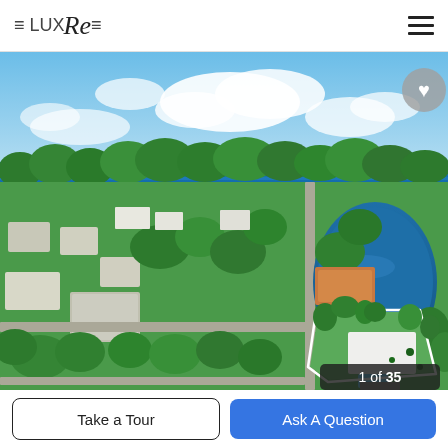=LUXRe= [logo] [hamburger menu]
[Figure (photo): Aerial drone photo of a luxury residential property in a lush coastal Florida neighborhood with ocean view in background, a lake to the right, the subject property outlined in white, showing a white-roofed home with pool on a generous lot surrounded by tropical vegetation.]
1 of 35
Take a Tour
Ask A Question